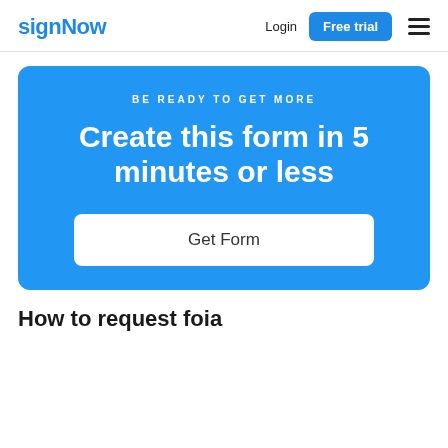signNow | Login | Free trial
BE READY TO GET MORE
Create this form in 5 minutes or less
Get Form
How to request foia